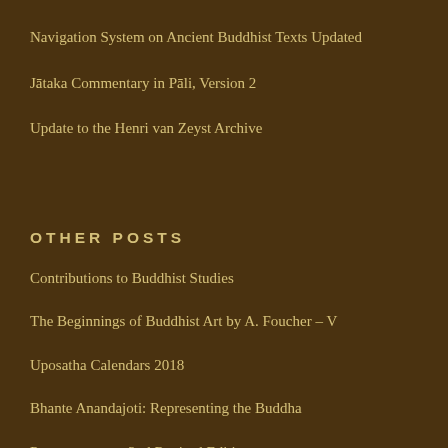Navigation System on Ancient Buddhist Texts Updated
Jātaka Commentary in Pāli, Version 2
Update to the Henri van Zeyst Archive
OTHER POSTS
Contributions to Buddhist Studies
The Beginnings of Buddhist Art by A. Foucher – V
Uposatha Calendars 2018
Bhante Anandajoti: Representing the Buddha
Pārāyanavagga, 2nd Revised Edition